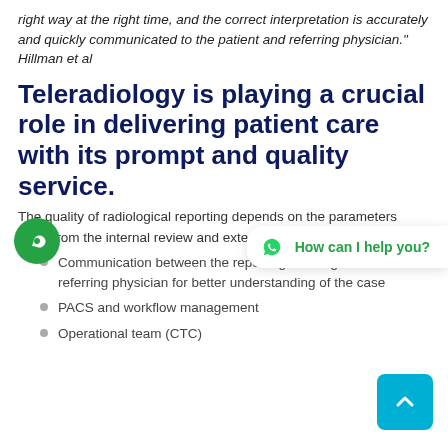right way at the right time, and the correct interpretation is accurately and quickly communicated to the patient and referring physician." Hillman et al
Teleradiology is playing a crucial role in delivering patient care with its prompt and quality service.
The quality of radiological reporting depends on the parameters apart from the internal review and external feedback system like
Communication between the reporting radiologists and referring physician for better understanding of the case
PACS and workflow management
Operational team (CTC)